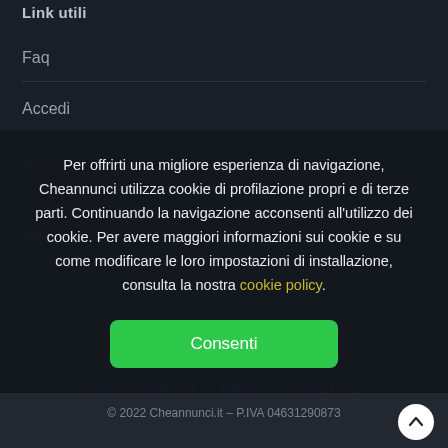Link utili
Faq
Accedi
Per offrirti una migliore esperienza di navigazione, Cheannunci utilizza cookie di profilazione propri e di terze parti. Continuando la navigazione acconsenti all'utilizzo dei cookie. Per avere maggiori informazioni sui cookie e su come modificare le loro impostazioni di installazione, consulta la nostra cookie policy.
Consenti
Termini e condizioni — Cookie — Privacy policy
© 2022 Cheannunci.it – P.IVA 04631290873